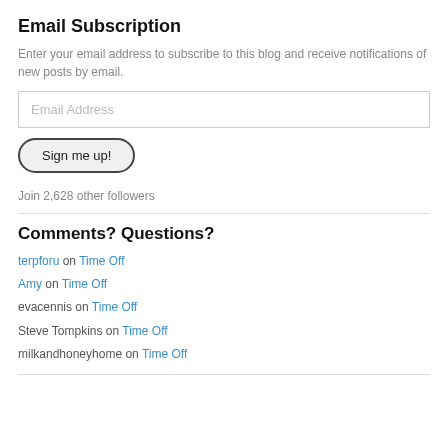Email Subscription
Enter your email address to subscribe to this blog and receive notifications of new posts by email.
Email Address
Sign me up!
Join 2,628 other followers
Comments? Questions?
terpforu on Time Off
Amy on Time Off
evacennis on Time Off
Steve Tompkins on Time Off
milkandhoneyhome on Time Off